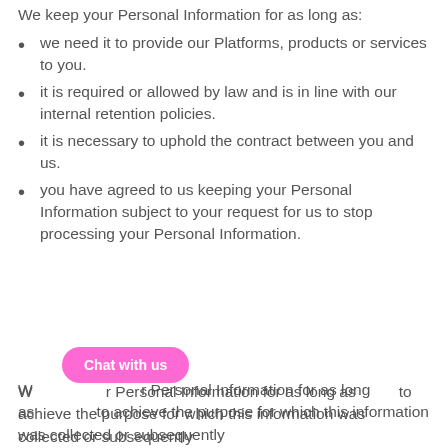We keep your Personal Information for as long as:
we need it to provide our Platforms, products or services to you.
it is required or allowed by law and is in line with our internal retention policies.
it is necessary to uphold the contract between you and us.
you have agreed to us keeping your Personal Information subject to your request for us to stop processing your Personal Information.
We keep your Personal Information for as long as it is necessary to achieve the purpose for which this information was collected or subsequently